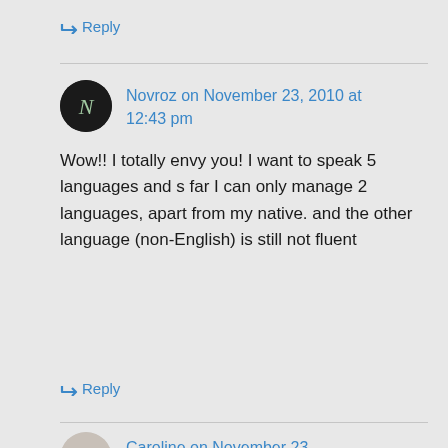↳ Reply
Novroz on November 23, 2010 at 12:43 pm
Wow!! I totally envy you! I want to speak 5 languages and s far I can only manage 2 languages, apart from my native. and the other language (non-English) is still not fluent
↳ Reply
Caroline on November 23, 2010 at 6:04 pm